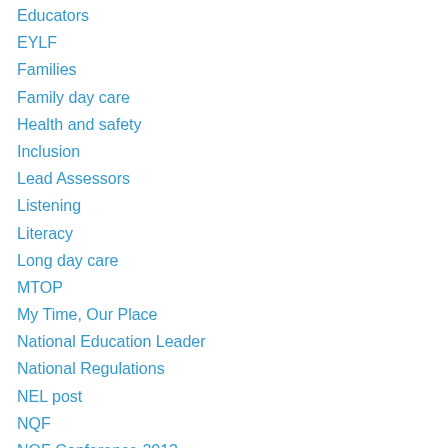Educators
EYLF
Families
Family day care
Health and safety
Inclusion
Lead Assessors
Listening
Literacy
Long day care
MTOP
My Time, Our Place
National Education Leader
National Regulations
NEL post
NQF
NQF Conference 2013
NQS
Nutrition
OSHC